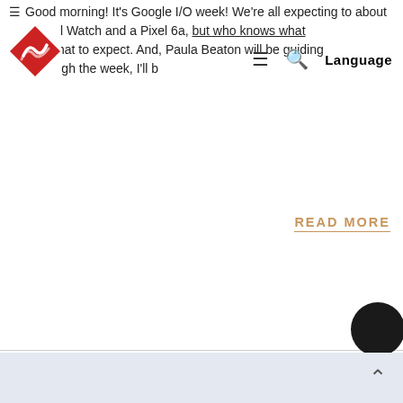☰ Good morning! It's Google I/O week! We're all expecting to about a Pixel Watch and a Pixel 6a, but who knows what Here's what to expect. And, Paula Beaton will be guiding you through the week, I'll b
[Figure (logo): Red and white diamond-shaped logo with wave/swirl graphic inside]
READ MORE
Japan Construction Equipment Market Report 2022-2027 Featuring Major Vendors - Caterpillar, Komatsu, Hitachi Kobel